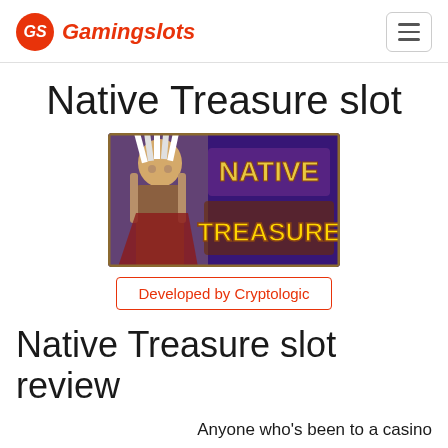GS Gamingslots
Native Treasure slot
[Figure (photo): Native Treasure slot game promotional image showing a Native American chief on the left and 'NATIVE TREASURE' text logo on a purple background]
Developed by Cryptologic
Native Treasure slot review
Anyone who's been to a casino in the last few years can't have failed to notice the banks of video